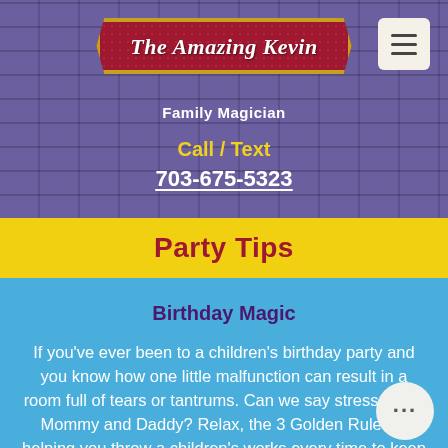[Figure (logo): The Amazing Kevin banner ribbon logo with red ribbon shape and gold border, italic white text reading 'The Amazing Kevin']
Family Magician
Call / Text
703-675-5323
Party Tips
Birthday Magic
If you’ve ever been to a children’s birthday party and you know how one little malfunction can result in a room full of tears or tantrums. Can we say stressed out Mommy and Daddy? Relax, the 3 Golden Rules in helping you throw a children’s works every time to keep the fu and the stress out.